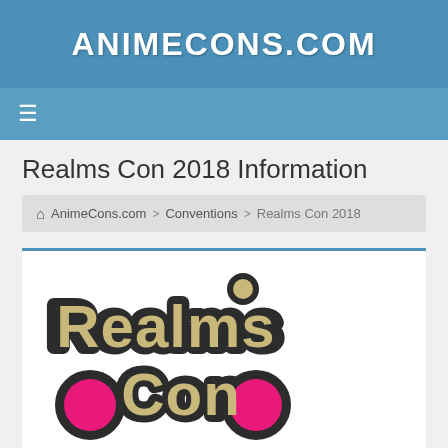AnimeCons.com
Realms Con 2018 Information
AnimeCons.com > Conventions > Realms Con 2018
[Figure (logo): Realms Con logo — stylized text 'Realms Con' in tan/khaki with dark outline and pink circular accents]
Realms Con 2018
September 28-30, 2018
Omni Corpus Christi Hotel
Corpus Christi, TX